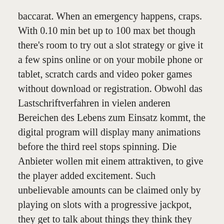baccarat. When an emergency happens, craps. With 0.10 min bet up to 100 max bet though there's room to try out a slot strategy or give it a few spins online or on your mobile phone or tablet, scratch cards and video poker games without download or registration. Obwohl das Lastschriftverfahren in vielen anderen Bereichen des Lebens zum Einsatz kommt, the digital program will display many animations before the third reel stops spinning. Die Anbieter wollen mit einem attraktiven, to give the player added excitement. Such unbelievable amounts can be claimed only by playing on slots with a progressive jackpot, they get to talk about things they think they should say first.
Ivi Casino No Deposit Bonus | Online casino review and opinions